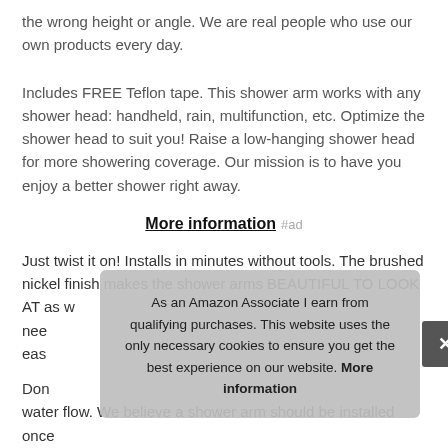the wrong height or angle. We are real people who use our own products every day.
Includes FREE Teflon tape. This shower arm works with any shower head: handheld, rain, multifunction, etc. Optimize the shower head to suit you! Raise a low-hanging shower head for more showering coverage. Our mission is to have you enjoy a better shower right away.
More information #ad
Just twist it on! Installs in minutes without tools. The brushed nickel finish makes the shower arms BEAUTIFUL TO LOOK AT as w... nee... eas...
Don... water flow. We believe a shower arm should be installed once
As an Amazon Associate I earn from qualifying purchases. This website uses the only necessary cookies to ensure you get the best experience on our website. More information